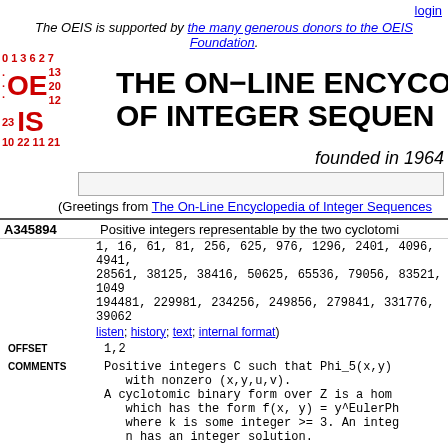login
The OEIS is supported by the many generous donors to the OEIS Foundation.
THE ON-LINE ENCYCLOPEDIA OF INTEGER SEQUENCES
founded in 1964
(Greetings from The On-Line Encyclopedia of Integer Sequences)
A345894 Positive integers representable by the two cyclotomi
1, 16, 61, 81, 256, 625, 976, 1296, 2401, 4096, 4941, 28561, 38125, 38416, 50625, 65536, 79056, 83521, 1049 194481, 229981, 234256, 249856, 279841, 331776, 39062
listen; history; text; internal format
OFFSET	1,2
COMMENTS	Positive integers C such that Phi_5(x,y) with nonzero (x,y,u,v). A cyclotomic binary form over Z is a hom which has the form f(x, y) = y^EulerPh where k is some integer >= 3. An integ n has an integer solution.
LINKS	Table of n, a(n) for n=1..38.